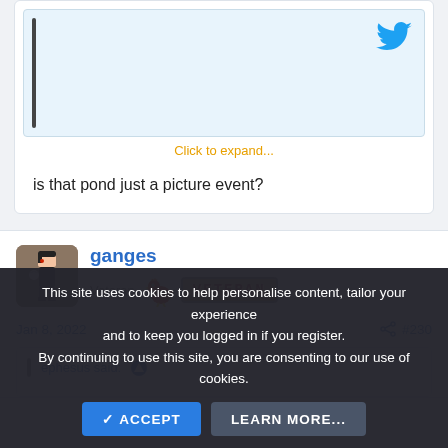[Figure (screenshot): Embedded tweet preview with Twitter bird icon and 'Click to expand...' link in orange]
is that pond just a picture event?
ganges
Veteran
[Figure (illustration): Veteran badge with pixel-art chicken/rooster icon and 'VETERAN' text badge]
Jan 8, 2022
#230
ephesus said:
This site uses cookies to help personalise content, tailor your experience and to keep you logged in if you register. By continuing to use this site, you are consenting to our use of cookies.